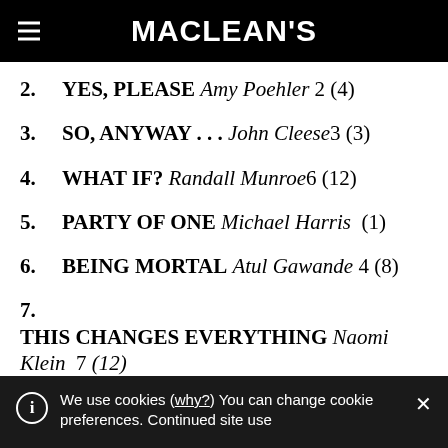MACLEAN'S
2. YES, PLEASE Amy Poehler 2 (4)
3. SO, ANYWAY . . . John Cleese 3 (3)
4. WHAT IF? Randall Munroe 6 (12)
5. PARTY OF ONE Michael Harris (1)
6. BEING MORTAL Atul Gawande 4 (8)
7. THIS CHANGES EVERYTHING Naomi Klein 7 (12)
We use cookies (why?) You can change cookie preferences. Continued site use